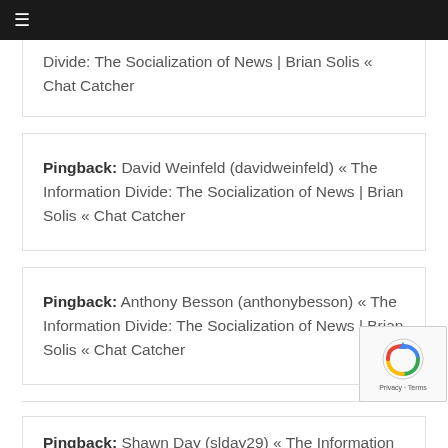≡
Divide: The Socialization of News | Brian Solis « Chat Catcher
Pingback: David Weinfeld (davidweinfeld) « The Information Divide: The Socialization of News | Brian Solis « Chat Catcher
Pingback: Anthony Besson (anthonybesson) « The Information Divide: The Socialization of News | Brian Solis « Chat Catcher
Pingback: Shawn Day (slday29) « The Information